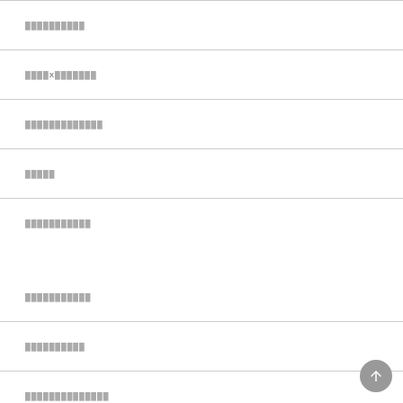██████████
████X███████
█████████████
█████
███████████
███████████
██████████
██████████████